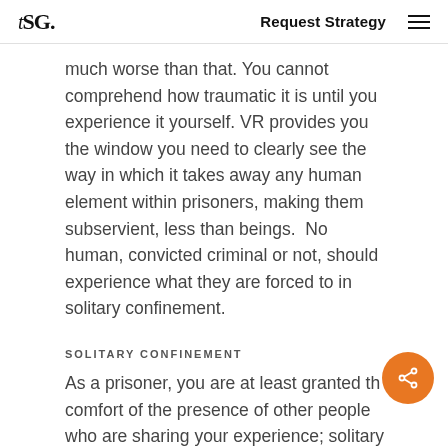tSG. | Request Strategy
much worse than that. You cannot comprehend how traumatic it is until you experience it yourself. VR provides you the window you need to clearly see the way in which it takes away any human element within prisoners, making them subservient, less than beings.  No human, convicted criminal or not, should experience what they are forced to in solitary confinement.
SOLITARY CONFINEMENT
As a prisoner, you are at least granted the comfort of the presence of other people who are sharing your experience; solitary